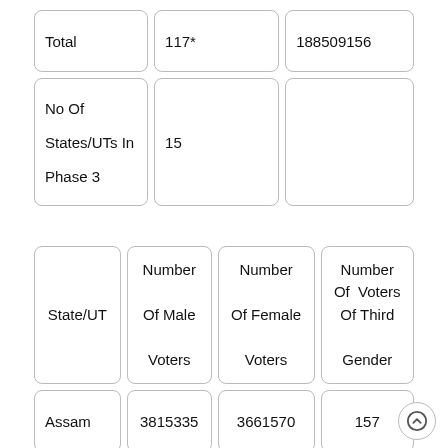|  |  |  |
| --- | --- | --- |
| Total | 117* | 188509156 |
| No Of States/UTs In Phase 3 | 15 |  |
| State/UT | Number Of Male Voters | Number Of Female Voters | Number Of Voters Of Third Gender |
| --- | --- | --- | --- |
| Assam | 3815335 | 3661570 | 157 |
| Bihar | 4655306 | 4244284 | 225 |